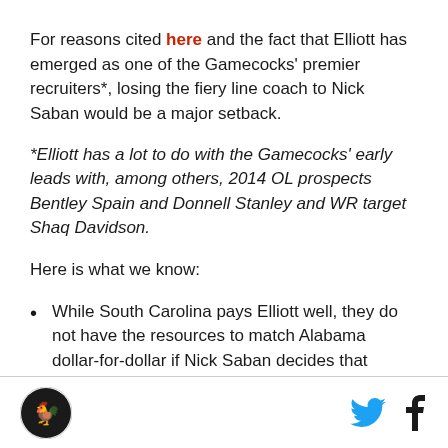For reasons cited here and the fact that Elliott has emerged as one of the Gamecocks' premier recruiters*, losing the fiery line coach to Nick Saban would be a major setback.
*Elliott has a lot to do with the Gamecocks' early leads with, among others, 2014 OL prospects Bentley Spain and Donnell Stanley and WR target Shaq Davidson.
Here is what we know:
While South Carolina pays Elliott well, they do not have the resources to match Alabama dollar-for-dollar if Nick Saban decides that Elliott is the guy
[logo] [twitter] [facebook]